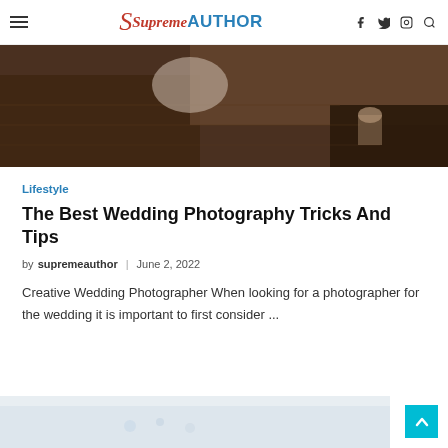SupremeAUTHOR — navigation header with hamburger menu, logo, and social icons (f, twitter, instagram, search)
[Figure (photo): Overhead/aerial photo of a wedding venue interior with dark wooden flooring and a bride in white dress partially visible]
Lifestyle
The Best Wedding Photography Tricks And Tips
by supremeauthor | June 2, 2022
Creative Wedding Photographer When looking for a photographer for the wedding it is important to first consider ...
[Figure (photo): Partial bottom strip showing another article image (light blue/grey sky scene)]